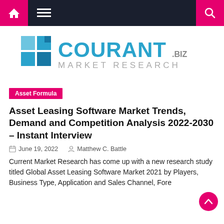Navigation bar with home icon, menu icon, and search icon
[Figure (logo): Courant.biz Market Research logo with blue geometric squares and text]
Asset Formula
Asset Leasing Software Market Trends, Demand and Competition Analysis 2022-2030 – Instant Interview
June 19, 2022   Matthew C. Battle
Current Market Research has come up with a new research study titled Global Asset Leasing Software Market 2021 by Players, Business Type, Application and Sales Channel, Fore...